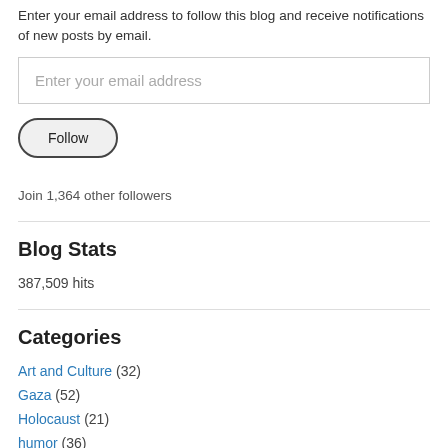Enter your email address to follow this blog and receive notifications of new posts by email.
[Figure (other): Email input field with placeholder text 'Enter your email address']
[Figure (other): Follow button with rounded rectangle border]
Join 1,364 other followers
Blog Stats
387,509 hits
Categories
Art and Culture (32)
Gaza (52)
Holocaust (21)
humor (36)